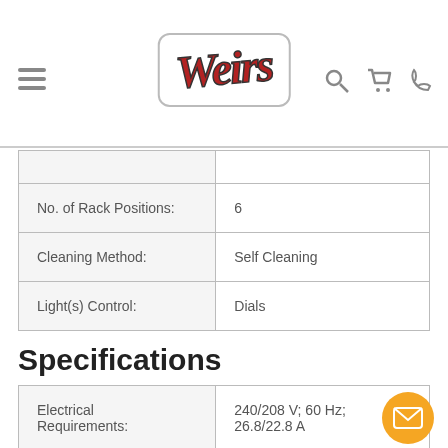Weir's [logo with hamburger menu and icons for search, cart, phone]
| Feature | Value |
| --- | --- |
| No. of Rack Positions: | 6 |
| Cleaning Method: | Self Cleaning |
| Light(s) Control: | Dials |
Specifications
| Feature | Value |
| --- | --- |
| Electrical Requirements: | 240/208 V; 60 Hz; 26.8/22.8 A |
Misc. Specs